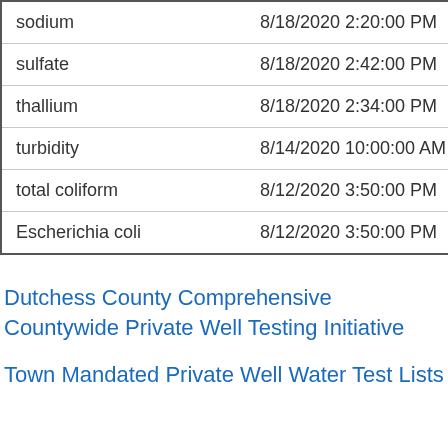| Analyte | Date/Time |
| --- | --- |
| sodium | 8/18/2020 2:20:00 PM |
| sulfate | 8/18/2020 2:42:00 PM |
| thallium | 8/18/2020 2:34:00 PM |
| turbidity | 8/14/2020 10:00:00 AM |
| total coliform | 8/12/2020 3:50:00 PM |
| Escherichia coli | 8/12/2020 3:50:00 PM |
Dutchess County Comprehensive Countywide Private Well Testing Initiative
Town Mandated Private Well Water Test Lists